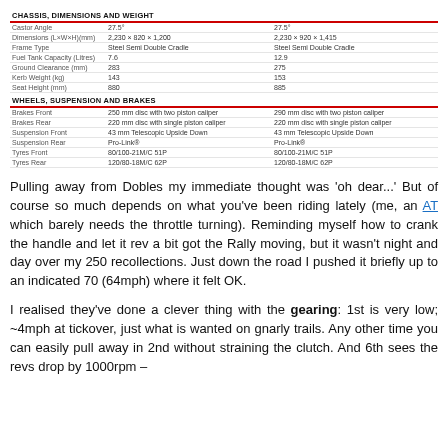|  |  |  |
| --- | --- | --- |
| CHASSIS, DIMENSIONS AND WEIGHT |  |  |
| Castor Angle | 27.5° | 27.5° |
| Dimensions (L×W×H)(mm) | 2,230 × 820 × 1,200 | 2,230 × 920 × 1,415 |
| Frame Type | Steel Semi Double Cradle | Steel Semi Double Cradle |
| Fuel Tank Capacity (Litres) | 7.6 | 12.9 |
| Ground Clearance (mm) | 283 | 275 |
| Kerb Weight (kg) | 143 | 153 |
| Seat Height (mm) | 880 | 885 |
| WHEELS, SUSPENSION AND BRAKES |  |  |
| Brakes Front | 250 mm disc with two piston caliper | 290 mm disc with two piston caliper |
| Brakes Rear | 220 mm disc with single piston caliper | 220 mm disc with single piston caliper |
| Suspension Front | 43 mm Telescopic Upside Down | 43 mm Telescopic Upside Down |
| Suspension Rear | Pro-Link® | Pro-Link® |
| Tyres Front | 80/100-21M/C 51P | 80/100-21M/C 51P |
| Tyres Rear | 120/80-18M/C 62P | 120/80-18M/C 62P |
Pulling away from Dobles my immediate thought was 'oh dear...' But of course so much depends on what you've been riding lately (me, an AT which barely needs the throttle turning). Reminding myself how to crank the handle and let it rev a bit got the Rally moving, but it wasn't night and day over my 250 recollections. Just down the road I pushed it briefly up to an indicated 70 (64mph) where it felt OK.
I realised they've done a clever thing with the gearing: 1st is very low; ~4mph at tickover, just what is wanted on gnarly trails. Any other time you can easily pull away in 2nd without straining the clutch. And 6th sees the revs drop by 1000rpm –